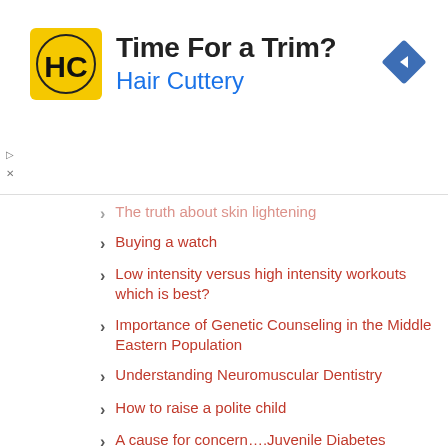[Figure (other): Hair Cuttery advertisement banner with logo, 'Time For a Trim?' headline, blue brand name, and navigation arrow icon]
The truth about skin lightening
Buying a watch
Low intensity versus high intensity workouts which is best?
Importance of Genetic Counseling in the Middle Eastern Population
Understanding Neuromuscular Dentistry
How to raise a polite child
A cause for concern….Juvenile Diabetes
Why is Sugar so Dangerous?
Eating out Tips
The Top Brightening Creams
Why Use Acne Medicine?
4 Steps to Relieve Back Pain
5 Recommended Medication Remedies to Treat Cystic